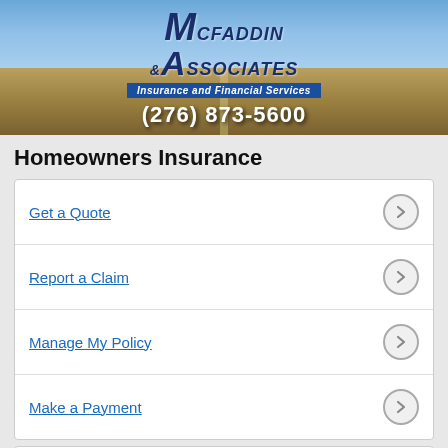[Figure (logo): McFaddin & Associates Insurance and Financial Services banner with logo, blue sky, road landscape background, and phone number (276) 873-5600]
Homeowners Insurance
Get a Quote
Report a Claim
Manage My Policy
Make a Payment
Because everyone’s needs are not the same, it is best to consult your agent to help assess your needs and find the insurance policy that is right for you.